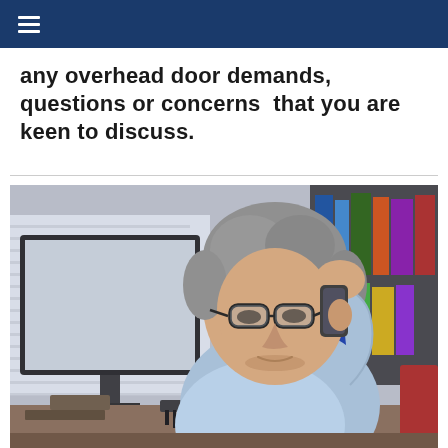≡
any overhead door demands, questions or concerns  that you are keen to discuss.
[Figure (photo): Middle-aged man with grey hair and glasses sitting at a desk, talking on a mobile phone, with a computer monitor to his left and bookshelves in the background.]